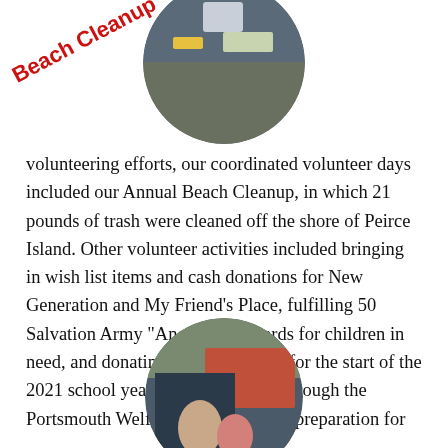[Figure (photo): Circular cropped photo at top of page showing beach cleanup scene, partially cropped at top edge]
Beach Cleanup
volunteering efforts, our coordinated volunteer days included our Annual Beach Cleanup, in which 21 pounds of trash were cleaned off the shore of Peirce Island. Other volunteer activities included bringing in wish list items and cash donations for New Generation and My Friend’s Place, fulfilling 50 Salvation Army “Angel Wish” cards for children in need, and donating school supplies for the start of the 2021 school year to local students through the Portsmouth Welfare Department. In preparation for
[Figure (photo): Circular cropped photo at bottom of page showing people loading or unloading items from a car trunk, partially cropped at bottom edge]